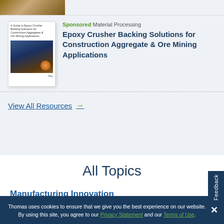[Figure (photo): Cropped image of textured material at top of page]
[Figure (illustration): Book cover for 'A Guide to Epoxy Crusher Backing Solutions for Construction Aggregates & Ore Mining Applications']
Sponsored Material Processing
Epoxy Crusher Backing Solutions for Construction Aggregate & Ore Mining Applications
View All Resources →
All Topics
Manufacturing Innovation
Thomas uses cookies to ensure that we give you the best experience on our website. By using this site, you agree to our Privacy Statement and our Terms of Use.